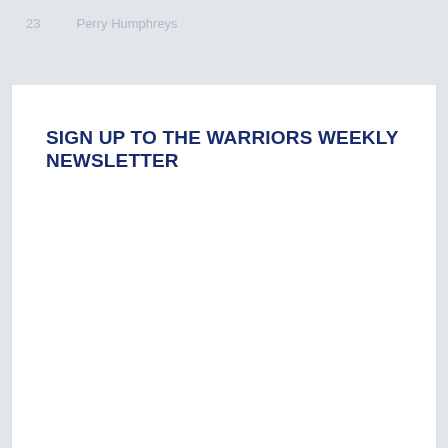23    Perry Humphreys
SIGN UP TO THE WARRIORS WEEKLY NEWSLETTER